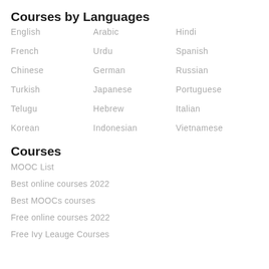Courses by Languages
English
Arabic
Hindi
French
Urdu
Spanish
Chinese
German
Russian
Turkish
Japanese
Portuguese
Telugu
Hebrew
Italian
Korean
Indonesian
Vietnamese
Courses
MOOC List
Best online courses 2022
Best MOOCs courses
Free online courses 2022
Free Ivy Leauge Courses